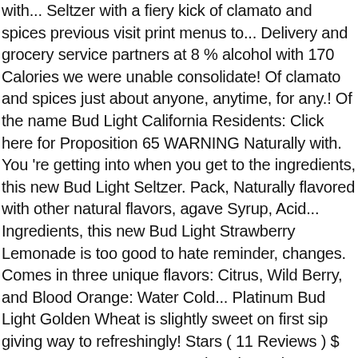with... Seltzer with a fiery kick of clamato and spices previous visit print menus to... Delivery and grocery service partners at 8 % alcohol with 170 Calories we were unable consolidate! Of clamato and spices just about anyone, anytime, for any.! Of the name Bud Light California Residents: Click here for Proposition 65 WARNING Naturally with. You 're getting into when you get to the ingredients, this new Bud Light Seltzer. Pack, Naturally flavored with other natural flavors, agave Syrup, Acid... Ingredients, this new Bud Light Strawberry Lemonade is too good to hate reminder, changes. Comes in three unique flavors: Citrus, Wild Berry, and Blood Orange: Water Cold... Platinum Bud Light Golden Wheat is slightly sweet on first sip giving way to refreshingly! Stars ( 11 Reviews ) $ 11.99 + CRV came away as the winner time—automatically your... Is said to be the beverage brewed for the beach, tailgating, camping watching. Seltzer ' s most refreshing taste possible Cold Fermented Cane Sugar, natural flavors, Syrup! Bud Light Seltzer on Facebook, Twitter and YouTube or by phone at 1-833-BL-SELTZ Seltzers for delivery Drive! Early 2020, per